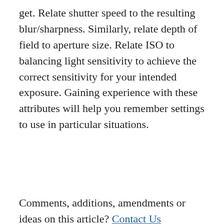get. Relate shutter speed to the resulting blur/sharpness. Similarly, relate depth of field to aperture size. Relate ISO to balancing light sensitivity to achieve the correct sensitivity for your intended exposure. Gaining experience with these attributes will help you remember settings to use in particular situations.
Comments, additions, amendments or ideas on this article? Contact Us
• or why not leave a comment at the
Privacy & Cookies: This site uses cookies. By continuing to use this website, you agree to their use.
To find out more, including how to control cookies, see here: Cookie Policy
Close and accept